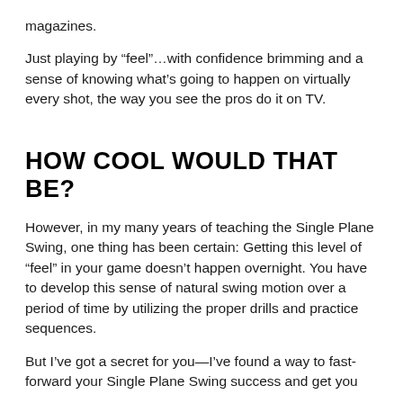magazines.
Just playing by “feel”…with confidence brimming and a sense of knowing what’s going to happen on virtually every shot, the way you see the pros do it on TV.
HOW COOL WOULD THAT BE?
However, in my many years of teaching the Single Plane Swing, one thing has been certain: Getting this level of “feel” in your game doesn’t happen overnight. You have to develop this sense of natural swing motion over a period of time by utilizing the proper drills and practice sequences.
But I’ve got a secret for you—I’ve found a way to fast-forward your Single Plane Swing success and get you